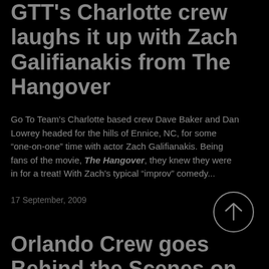GTT's Charlotte crew laughs it up with Zach Galifianakis from The Hangover
Go To Team's Charlotte based crew Dave Baker and Dan Lowrey headed for the hills of Ennice, NC, for some “one-on-one” time with actor Zach Galifianakis. Being fans of the movie, The Hangover, they knew they were in for a treat! With Zach's typical “improv” comedy...
17 September, 2009
Orlando Crew goes Behind the Scenes on